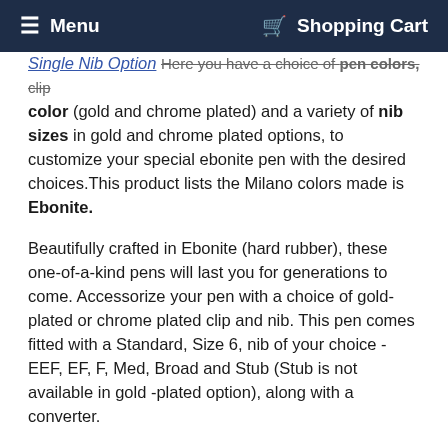Menu   Shopping Cart
Single Nib Option Here you have a choice of pen colors, clip color (gold and chrome plated) and a variety of nib sizes in gold and chrome plated options, to customize your special ebonite pen with the desired choices. This product lists the Milano colors made is Ebonite.
Beautifully crafted in Ebonite (hard rubber), these one-of-a-kind pens will last you for generations to come. Accessorize your pen with a choice of gold-plated or chrome plated clip and nib. This pen comes fitted with a Standard, Size 6, nib of your choice - EEF, EF, F, Med, Broad and Stub (Stub is not available in gold -plated option), along with a converter.
Osprey range of Fountain Pens are made for everyday writing and for calligraphers & artists wanting to use this pen for sketching, drawing, etc. With Osprey Milano or Osprey Scholar Fountain Pen, all the nib units are interchangeable. Switching between different nib types becomes a breeze as the nib units have threads that screw and unscrew easily, without the mess of friction fit each time. The Osprey Milano was